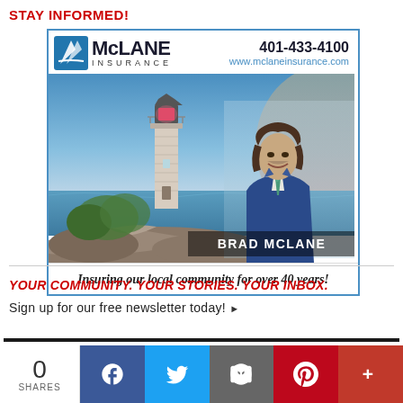STAY INFORMED!
[Figure (photo): McLane Insurance advertisement featuring a lighthouse on rocky coast and portrait of Brad McLane. Includes logo, phone number 401-433-4100, website www.mclaneinsurance.com, name BRAD MCLANE, and tagline 'Insuring our local community for over 40 years!']
YOUR COMMUNITY. YOUR STORIES. YOUR INBOX.
Sign up for our free newsletter today! ▶
0
SHARES